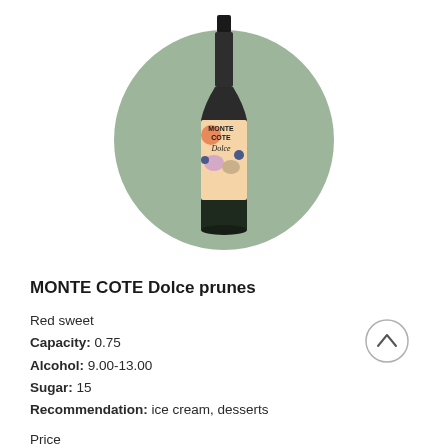[Figure (photo): A wine bottle with a colorful illustrated label reading MONTE COTE Dolce, placed in front of a muted green circle background.]
MONTE COTE Dolce prunes
Red sweet
Capacity: 0.75
Alcohol: 9.00-13.00
Sugar: 15
Recommendation: ice cream, desserts
Price